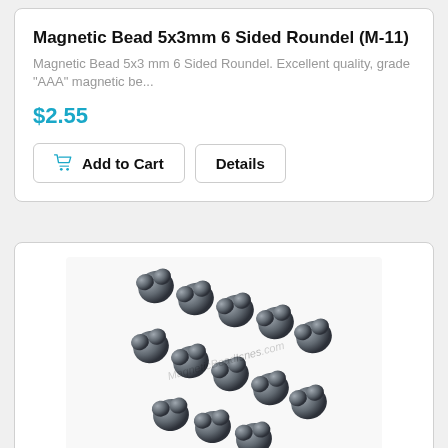Magnetic Bead 5x3mm 6 Sided Roundel (M-11)
Magnetic Bead 5x3 mm 6 Sided Roundel. Excellent quality, grade "AAA" magnetic be...
$2.55
[Figure (screenshot): Add to Cart and Details buttons]
[Figure (photo): Photo of magnetic heart-shaped beads strung together, showing metallic dark grey/gunmetal heart beads with watermark MagneticBeadIsnes.com]
Magnetic Bead 12mm 2 Holed